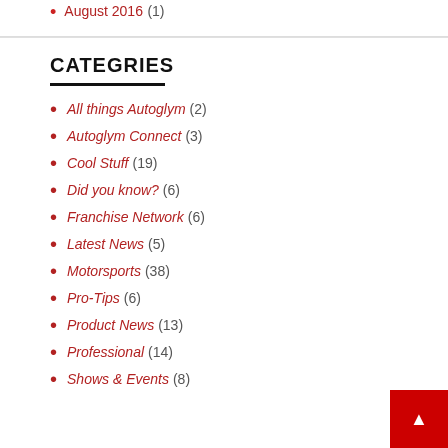August 2016 (1)
CATEGRIES
All things Autoglym (2)
Autoglym Connect (3)
Cool Stuff (19)
Did you know? (6)
Franchise Network (6)
Latest News (5)
Motorsports (38)
Pro-Tips (6)
Product News (13)
Professional (14)
Shows & Events (8)